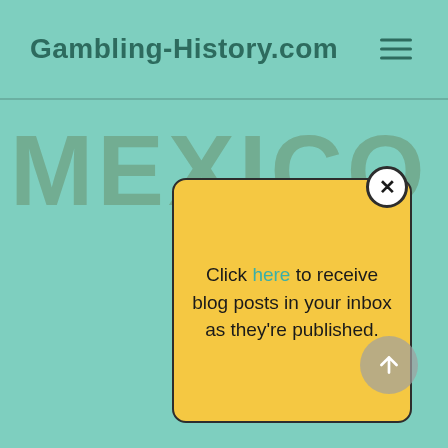Gambling-History.com
MEXICO
[Figure (screenshot): Yellow popup modal with close button (X) and text: Click here to receive blog posts in your inbox as they're published.]
Click here to receive blog posts in your inbox as they're published.